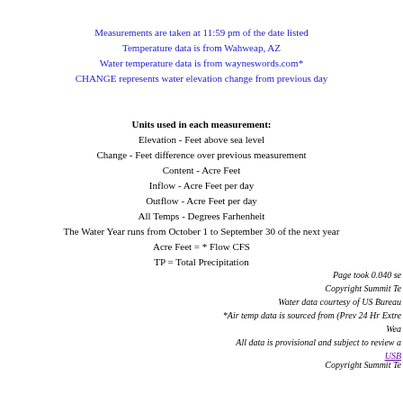Measurements are taken at 11:59 pm of the date listed
Temperature data is from Wahweap, AZ
Water temperature data is from wayneswords.com*
CHANGE represents water elevation change from previous day
Units used in each measurement:
Elevation - Feet above sea level
Change - Feet difference over previous measurement
Content - Acre Feet
Inflow - Acre Feet per day
Outflow - Acre Feet per day
All Temps - Degrees Farhenheit
The Water Year runs from October 1 to September 30 of the next year
Acre Feet = * Flow CFS
TP = Total Precipitation
Page took 0.040 se...
Copyright Summit Te...
Water data courtesy of US Bureau...
*Air temp data is sourced from (Prev 24 Hr Extre...
Wea...
All data is provisional and subject to review a...
USBR...
Copyright Summit Te...